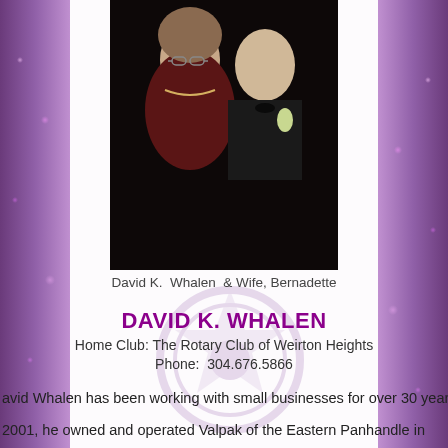[Figure (photo): Couple photo: David K. Whalen and wife Bernadette. Woman in dark red/maroon dress with necklace, man in black tuxedo with bow tie and boutonniere, dark background.]
David K.  Whalen  & Wife, Bernadette
DAVID K. WHALEN
Home Club: The Rotary Club of Weirton Heights
Phone:  304.676.5866
avid Whalen has been working with small businesses for over 30 years.
2001, he owned and operated Valpak of the Eastern Panhandle in